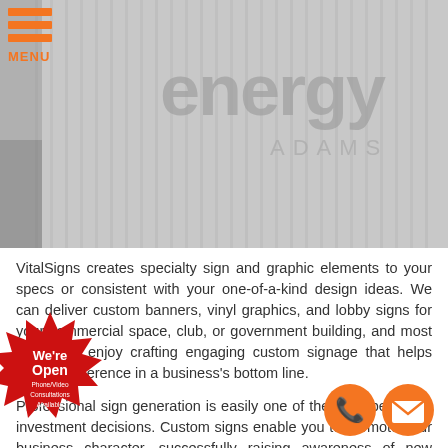[Figure (photo): Hero image showing exterior building signage with 'energy ADAMS' text visible, light grey/silver tones]
MENU
VitalSigns creates specialty sign and graphic elements to your specs or consistent with your one-of-a-kind design ideas. We can deliver custom banners, vinyl graphics, and lobby signs for your commercial space, club, or government building, and most of all, we enjoy crafting engaging custom signage that helps make a difference in a business's bottom line.
Professional sign generation is easily one of the most beneficial investment decisions. Custom signs enable you to promote your business character, successfully raising awareness of new consumers and bringing them to shop with your organization. We, a vitalia custom sign company is excited to deliver professional,
[Figure (illustration): Red starburst badge with white text 'We're Open' and 'Phone/Video Consultations Available']
[Figure (illustration): Orange circle phone icon and orange circle email/envelope icon]